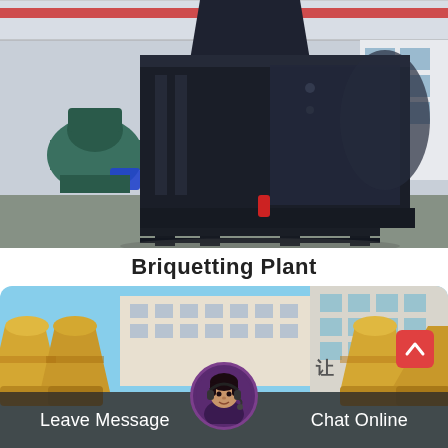[Figure (photo): Large dark navy/black briquetting press machine sitting on a steel frame in an industrial factory setting. A teal/green motor and another machine visible in the background left. Factory has high ceilings with red crane rails. Bright industrial lighting.]
Briquetting Plant
[Figure (photo): Bottom panel showing yellow industrial equipment (cone crushers or similar machines) on the left and right sides, with a building facade visible in background. Chinese characters visible on building. A scroll-to-top button (red with white chevron) in upper right. A customer service representative avatar (woman with headset) centered at the bottom overlay. Two buttons: 'Leave Message' on left and 'Chat Online' on right on a dark semi-transparent bar.]